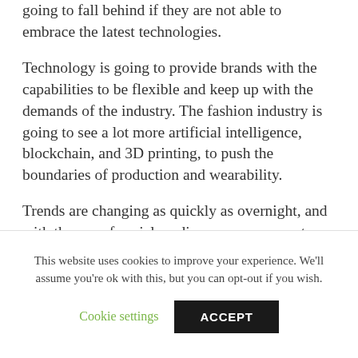going to fall behind if they are not able to embrace the latest technologies.
Technology is going to provide brands with the capabilities to be flexible and keep up with the demands of the industry. The fashion industry is going to see a lot more artificial intelligence, blockchain, and 3D printing, to push the boundaries of production and wearability.
Trends are changing as quickly as overnight, and with the use of social media, consumers want instant access to the latest trends. This means that big brands are being challenged with keeping up
This website uses cookies to improve your experience. We'll assume you're ok with this, but you can opt-out if you wish. Cookie settings ACCEPT